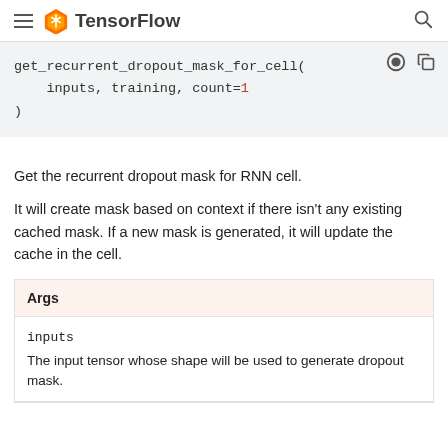TensorFlow
get_recurrent_dropout_mask_for_cell(
    inputs, training, count=1
)
Get the recurrent dropout mask for RNN cell.
It will create mask based on context if there isn't any existing cached mask. If a new mask is generated, it will update the cache in the cell.
| Args |
| --- |
| inputs | The input tensor whose shape will be used to generate dropout mask. |